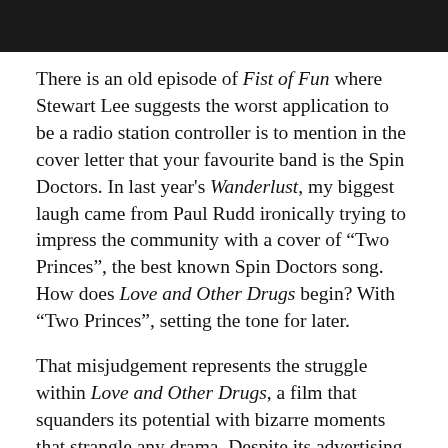[Figure (photo): Dark photograph strip at the top of the page, showing a dimly lit scene — mostly black/dark background.]
There is an old episode of Fist of Fun where Stewart Lee suggests the worst application to be a radio station controller is to mention in the cover letter that your favourite band is the Spin Doctors. In last year's Wanderlust, my biggest laugh came from Paul Rudd ironically trying to impress the community with a cover of “Two Princes”, the best known Spin Doctors song. How does Love and Other Drugs begin? With “Two Princes”, setting the tone for later.
That misjudgement represents the struggle within Love and Other Drugs, a film that squanders its potential with bizarre moments that strangle any drama. Despite its advertising campaign (that might as well have had Jake Gyllenhaal leaning against a wall), the storyline is more